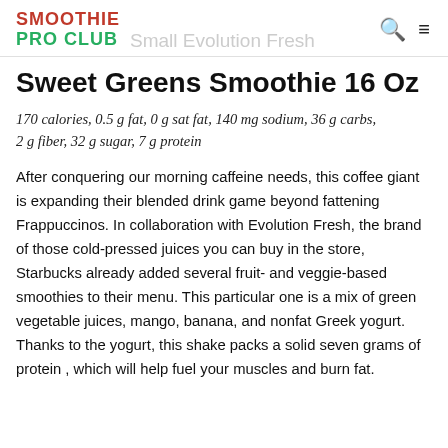SMOOTHIE PRO CLUB  Small Evolution Fresh
Sweet Greens Smoothie 16 Oz
170 calories, 0.5 g fat, 0 g sat fat, 140 mg sodium, 36 g carbs, 2 g fiber, 32 g sugar, 7 g protein
After conquering our morning caffeine needs, this coffee giant is expanding their blended drink game beyond fattening Frappuccinos. In collaboration with Evolution Fresh, the brand of those cold-pressed juices you can buy in the store, Starbucks already added several fruit- and veggie-based smoothies to their menu. This particular one is a mix of green vegetable juices, mango, banana, and nonfat Greek yogurt. Thanks to the yogurt, this shake packs a solid seven grams of protein , which will help fuel your muscles and burn fat.